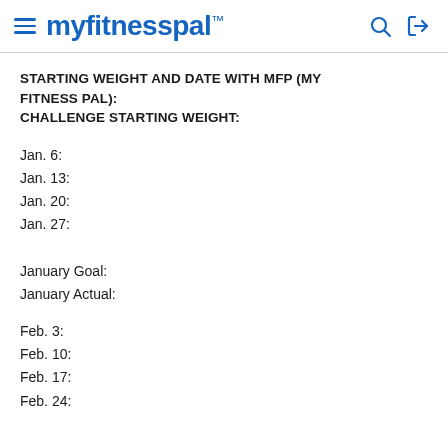myfitnesspal
STARTING WEIGHT AND DATE WITH MFP (MY FITNESS PAL):
CHALLENGE STARTING WEIGHT:
Jan. 6:
Jan. 13:
Jan. 20:
Jan. 27:
January Goal:
January Actual:
Feb. 3:
Feb. 10:
Feb. 17:
Feb. 24: